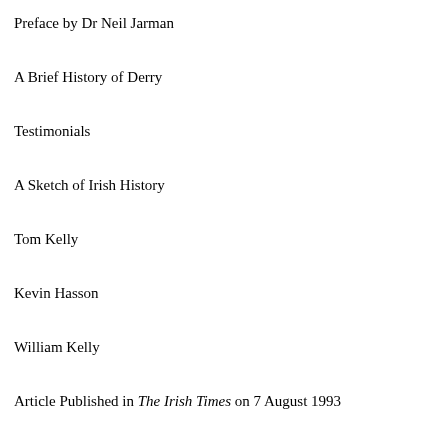Preface by Dr Neil Jarman
A Brief History of Derry
Testimonials
A Sketch of Irish History
Tom Kelly
Kevin Hasson
William Kelly
Article Published in The Irish Times on 7 August 1993
Manifesto